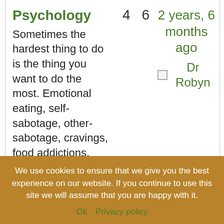| Topic |  |  | Date |
| --- | --- | --- | --- |
| Psychology | 4 | 6 | 2 years, 6 months ago |
| Sometimes the hardest thing to do is the thing you want to do the most. Emotional eating, self-sabotage, other-sabotage, cravings, food addictions, dealing with the Pleasure Trap |  |  | Dr Robyn |
We use cookies to ensure that we give you the best experience on our website. If you continue to use this site we will assume that you are happy with it.
Ok   Privacy policy